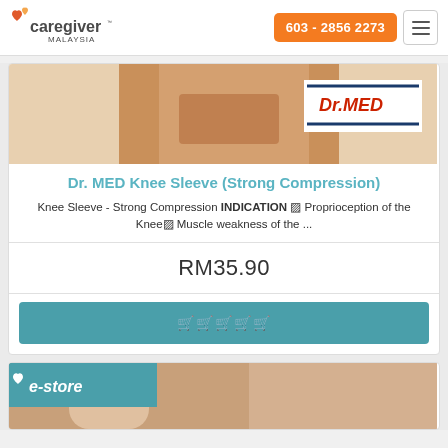caregiver MALAYSIA | 603 - 2856 2273
[Figure (photo): Dr. MED Knee Sleeve product image showing beige compression sleeve on a knee, with Dr.MED brand logo in top right corner]
Dr. MED Knee Sleeve (Strong Compression)
Knee Sleeve - Strong Compression INDICATION ▶ Proprioception of the Knee▶ Muscle weakness of the ...
RM35.90
🛒🛒🛒🛒🛒
[Figure (photo): Second product card with e-store badge and child photo]